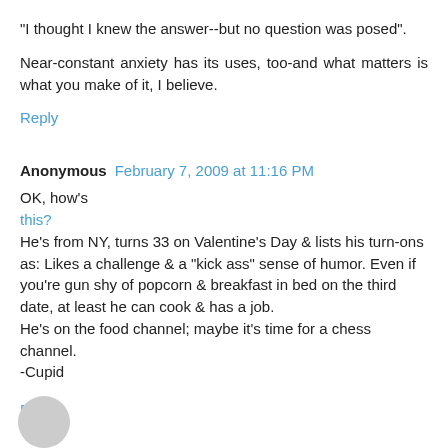"I thought I knew the answer--but no question was posed".
Near-constant anxiety has its uses, too-and what matters is what you make of it, I believe.
Reply
Anonymous  February 7, 2009 at 11:16 PM
OK, how's
this?
He's from NY, turns 33 on Valentine's Day & lists his turn-ons as: Likes a challenge & a "kick ass" sense of humor. Even if you're gun shy of popcorn & breakfast in bed on the third date, at least he can cook & has a job.
He's on the food channel; maybe it's time for a chess channel.
-Cupid
Reply